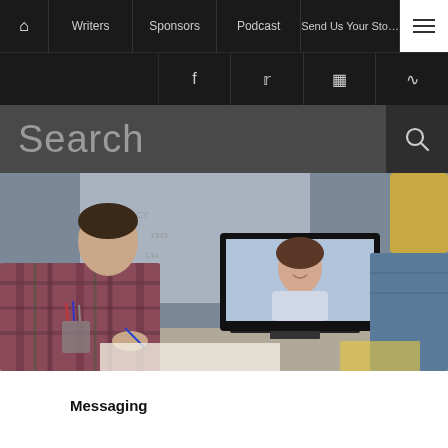Home | Writers | Sponsors | Podcast | Send Us Your Story | Menu
f | Twitter | Instagram | RSS
Search
[Figure (photo): Two people sitting at a desk having a video conference. A man in a plaid shirt on the left writes notes, a woman with blonde hair on the right. A large monitor in the center shows a smiling woman on a video call. A whiteboard with writing is visible in the background.]
Messaging